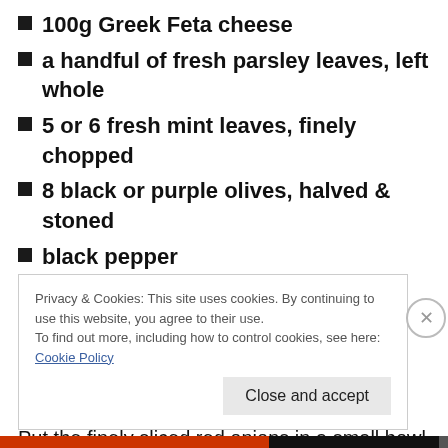100g Greek Feta cheese
a handful of fresh parsley leaves, left whole
5 or 6 fresh mint leaves, finely chopped
8 black or purple olives, halved & stoned
black pepper
extra virgen olive oil
a handful of shelled pistachios, roughly chopped
lemon wedges to serve
Put the finely sliced red onions in a small bowl and cover with the lemon juice. Leave to soak while you make the
Privacy & Cookies: This site uses cookies. By continuing to use this website, you agree to their use.
To find out more, including how to control cookies, see here: Cookie Policy
Close and accept